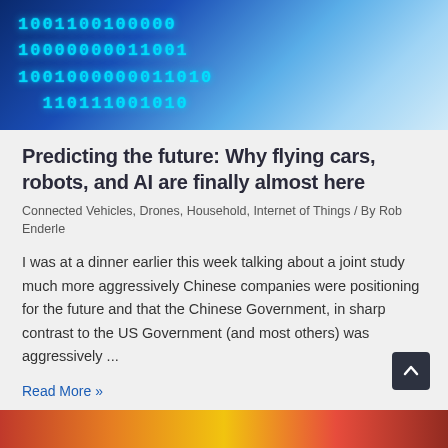[Figure (photo): Hero banner image showing blue digital binary code numbers on a dark blue glowing background]
Predicting the future: Why flying cars, robots, and AI are finally almost here
Connected Vehicles, Drones, Household, Internet of Things / By Rob Enderle
I was at a dinner earlier this week talking about a joint study much more aggressively Chinese companies were positioning for the future and that the Chinese Government, in sharp contrast to the US Government (and most others) was aggressively ...
Read More »
[Figure (photo): Bottom strip of a colorful image in red, orange, and yellow tones]